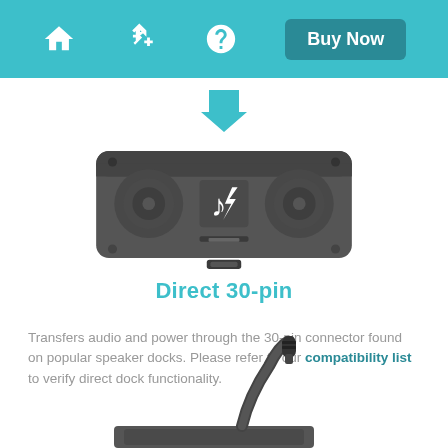Navigation bar with home, plug, help icons and Buy Now button
[Figure (illustration): Blue downward arrow pointing to a dark gray speaker dock with two circular speaker cones and a music/lightning bolt logo in the center]
Direct 30-pin
Transfers audio and power through the 30-pin connector found on popular speaker docks. Please refer to our compatibility list to verify direct dock functionality.
[Figure (photo): Bottom portion showing an audio cable with 3.5mm plug connecting to a dock adapter, partially visible at the bottom of the page]